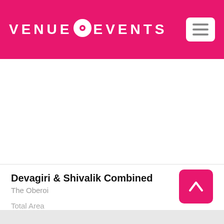[Figure (logo): VENUE EVENTS logo in white text on pink/magenta background with a circular eye/dot icon between VENUE and EVENTS]
[Figure (photo): Venue interior photo area (white/blank in this rendering)]
Devagiri & Shivalik Combined
The Oberoi
Total Area
3348 Sq. Ft.
Dimensions (in ft.)
54 x 18
[Figure (illustration): WhatsApp green circle icon with phone handset]